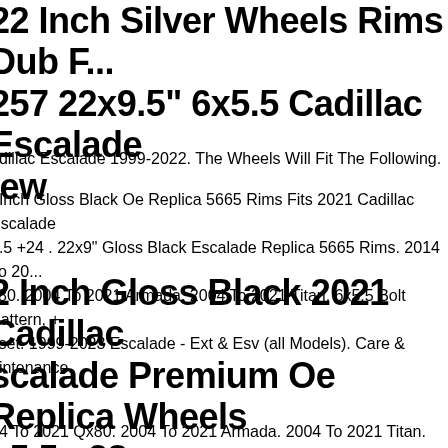22 Inch Silver Wheels Rims Dub F... 257 22x9.5" 6x5.5 Cadillac Escalade lew
adillac Escalade 1999-2022. The Wheels Will Fit The Following.
. Inch Gloss Black Oe Replica 5665 Rims Fits 2021 Cadillac Escalade 5.5 +24 . 22x9" Gloss Black Escalade Replica 5665 Rims. 2014 To 20... x80. 2004 To 2021 Armada. 2004 To 2021 Titan. 6x5.5 Bolt Pattern, + ffset. 1999-2023 Escalade - Ext & Esv (all Models). Care & aintenance.
2 Inch Gloss Black 2021 Cadillac scalade Premium Oe Replica Wheels x5.5 +28
14 To 2021 Qx80. 2004 To 2021 Armada. 2004 To 2021 Titan. 6x5.5 olt Pattern, +28 Offset. 22x9" Gloss Black Sgm Oe Replica 5903